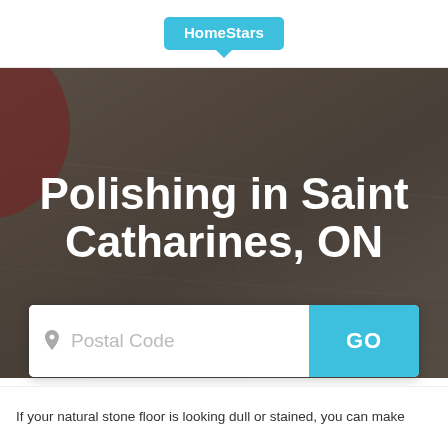[Figure (logo): HomeStars logo in a cyan speech bubble shape]
Polishing in Saint Catharines, ON
[Figure (other): Search bar with postal code input field and cyan GO button]
If your natural stone floor is looking dull or stained, you can make